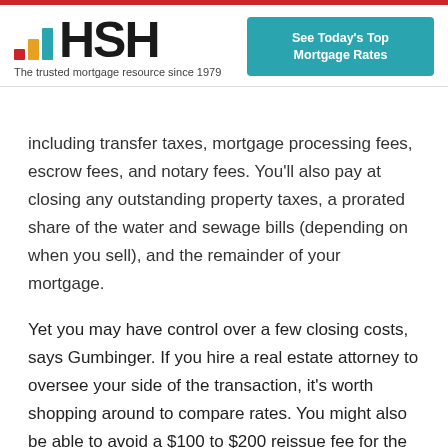HSH - The trusted mortgage resource since 1979
including transfer taxes, mortgage processing fees, escrow fees, and notary fees. You'll also pay at closing any outstanding property taxes, a prorated share of the water and sewage bills (depending on when you sell), and the remainder of your mortgage.
Yet you may have control over a few closing costs, says Gumbinger. If you hire a real estate attorney to oversee your side of the transaction, it's worth shopping around to compare rates. You might also be able to avoid a $100 to $200 reissue fee for the title search if you can provide a copy of your policy.